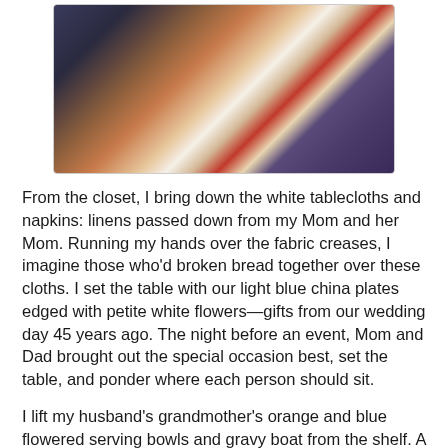[Figure (photo): A photo of people holding a dog (appears to be a Cavalier King Charles Spaniel). One person wearing a red top and another in a plaid shirt are visible. The dog is white and brown.]
From the closet, I bring down the white tablecloths and napkins: linens passed down from my Mom and her Mom. Running my hands over the fabric creases, I imagine those who'd broken bread together over these cloths. I set the table with our light blue china plates edged with petite white flowers—gifts from our wedding day 45 years ago. The night before an event, Mom and Dad brought out the special occasion best, set the table, and ponder where each person should sit.
I lift my husband's grandmother's orange and blue flowered serving bowls and gravy boat from the shelf. A few age stress marks give the pieces character. Just like us. Together, our family gathers, their dishes and the...